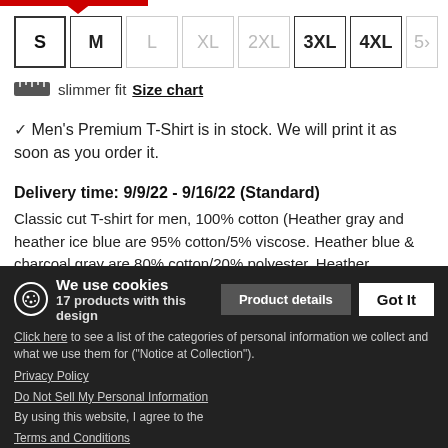S, M, L, XL, 2XL, 3XL, 4XL, 5X (size buttons)
ruler slimmer fit  Size chart
✓ Men's Premium T-Shirt is in stock. We will print it as soon as you order it.
Delivery time: 9/9/22 - 9/16/22 (Standard)
Classic cut T-shirt for men, 100% cotton (Heather gray and heather ice blue are 95% cotton/5% viscose. Heather blue & charcoal gray are 80% cotton/20% polyester. Heather burgundy is 60% cotton/40% polyester. Heather oatmeal is 99% cotton/1% viscose) Brand: Spreadshirt
We use cookies
17 products with this design   Product details   Got It
Click here to see a list of the categories of personal information we collect and what we use them for ("Notice at Collection").
Privacy Policy
Do Not Sell My Personal Information
By using this website, I agree to the Terms and Conditions